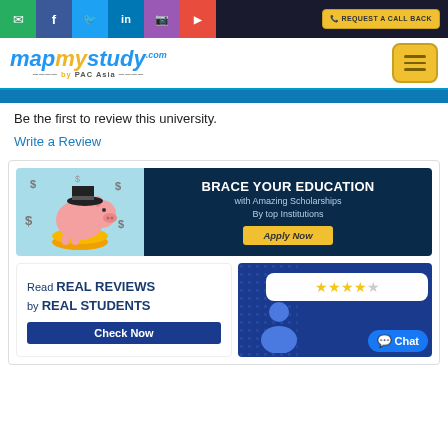[Figure (screenshot): Website header with social media icons (email, Facebook, Twitter, LinkedIn, Instagram, YouTube) and a 'Request a Call Back' button]
[Figure (logo): MapMyStudy.com by PAC Asia logo with hamburger menu button]
Be the first to review this university.
Write a Review
[Figure (infographic): Scholarship banner: BRACE YOUR EDUCATION with Amazing Scholarships By top Institutions - Apply Now button, with piggy bank illustration]
[Figure (infographic): Read REAL REVIEWS by REAL STUDENTS - Check Now button]
[Figure (infographic): Blue ad with star ratings and person illustration]